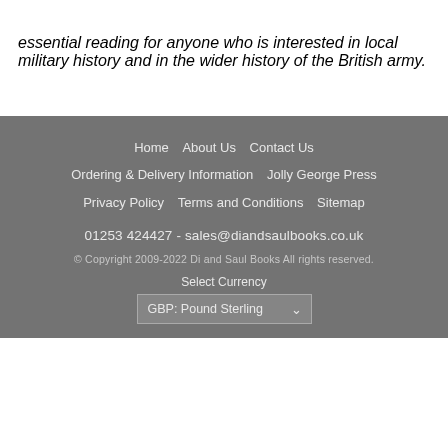essential reading for anyone who is interested in local military history and in the wider history of the British army.
Home  About Us  Contact Us  Ordering & Delivery Information  Jolly George Press  Privacy Policy  Terms and Conditions  Sitemap  01253 424427 - sales@diandsaulbooks.co.uk  © Copyright 2009-2022 Di and Saul Books All rights reserved.  Select Currency  GBP: Pound Sterling